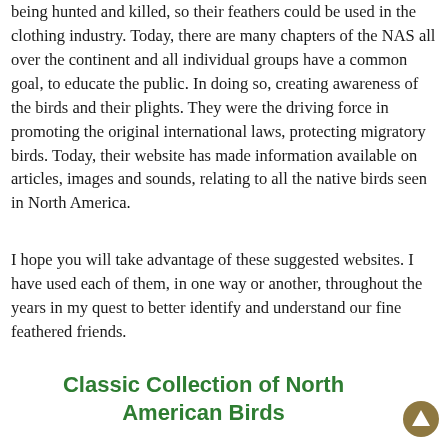being hunted and killed, so their feathers could be used in the clothing industry. Today, there are many chapters of the NAS all over the continent and all individual groups have a common goal, to educate the public. In doing so, creating awareness of the birds and their plights. They were the driving force in promoting the original international laws, protecting migratory birds. Today, their website has made information available on articles, images and sounds, relating to all the native birds seen in North America.
I hope you will take advantage of these suggested websites. I have used each of them, in one way or another, throughout the years in my quest to better identify and understand our fine feathered friends.
Classic Collection of North American Birds